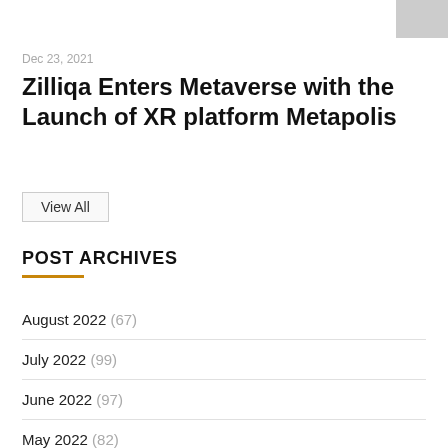Dec 23, 2021
Zilliqa Enters Metaverse with the Launch of XR platform Metapolis
View All
POST ARCHIVES
August 2022 (67)
July 2022 (99)
June 2022 (97)
May 2022 (82)
April 2022 (81)
March 2022 (80)